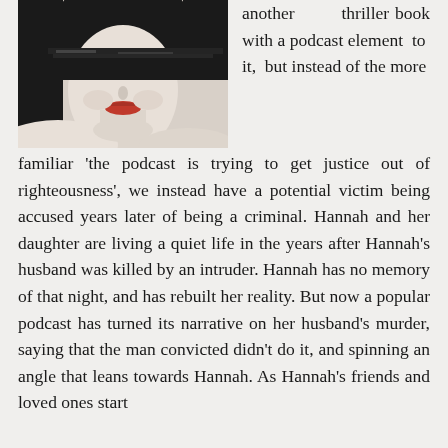[Figure (photo): Book cover image showing a woman's face in black and white, with red lips, dark hair, and eyes obscured by black brush strokes/redaction.]
another thriller book with a podcast element to it, but instead of the more familiar 'the podcast is trying to get justice out of righteousness', we instead have a potential victim being accused years later of being a criminal. Hannah and her daughter are living a quiet life in the years after Hannah's husband was killed by an intruder. Hannah has no memory of that night, and has rebuilt her reality. But now a popular podcast has turned its narrative on her husband's murder, saying that the man convicted didn't do it, and spinning an angle that leans towards Hannah. As Hannah's friends and loved ones start